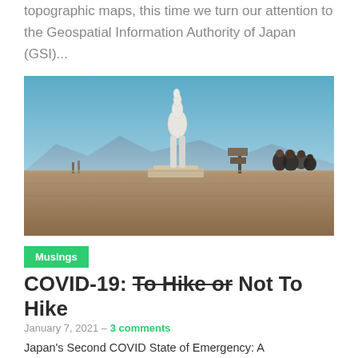topographic maps, this time we turn our attention to the Geospatial Information Authority of Japan (GSI)...
[Figure (photo): Outdoor photo showing a white abstract elongated statue on a pedestal in a desert/arid landscape with a clear blue sky. To the right are a group of people and a signpost. Mountains are visible in the background.]
Musings
COVID-19: To Hike or Not To Hike
January 7, 2021 – 3 comments
Japan's Second COVID State of Emergency: A